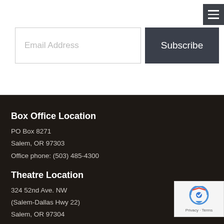[Figure (screenshot): Email subscription form with text input labeled 'Email Address' and a dark 'Subscribe' button, plus a hamburger menu icon in the top right corner]
Box Office Location
PO Box 8271
Salem, OR 97303
Office phone: (503) 485-4300
Theatre Location
324 52nd Ave. NW
(Salem-Dallas Hwy 22)
Salem, OR 97304